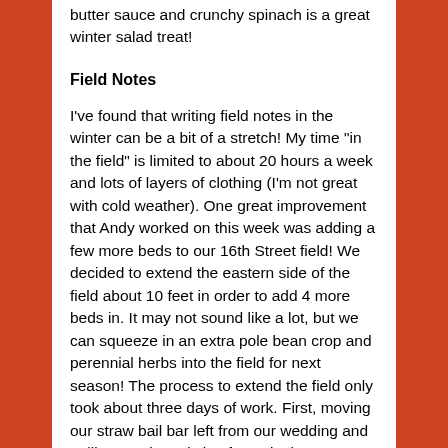butter sauce and crunchy spinach is a great winter salad treat!
Field Notes
I've found that writing field notes in the winter can be a bit of a stretch! My time “in the field” is limited to about 20 hours a week and lots of layers of clothing (I'm not great with cold weather). One great improvement that Andy worked on this week was adding a few more beds to our 16th Street field! We decided to extend the eastern side of the field about 10 feet in order to add 4 more beds in. It may not sound like a lot, but we can squeeze in an extra pole bean crop and perennial herbs into the field for next season! The process to extend the field only took about three days of work. First, moving our straw bail bar left from our wedding and pulling out the existing fence in that area. Next, Andy flail mowed the grass and wild raspberries vines to prepare the ground for tilling, bed shaping, and topping with